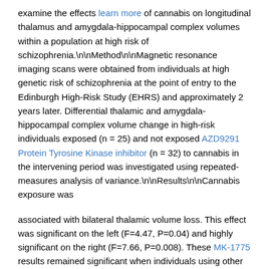examine the effects learn more of cannabis on longitudinal thalamus and amygdala-hippocampal complex volumes within a population at high risk of schizophrenia.\n\nMethod\n\nMagnetic resonance imaging scans were obtained from individuals at high genetic risk of schizophrenia at the point of entry to the Edinburgh High-Risk Study (EHRS) and approximately 2 years later. Differential thalamic and amygdala-hippocampal complex volume change in high-risk individuals exposed (n = 25) and not exposed AZD9291 Protein Tyrosine Kinase inhibitor (n = 32) to cannabis in the intervening period was investigated using repeated-measures analysis of variance.\n\nResults\n\nCannabis exposure was
associated with bilateral thalamic volume loss. This effect was significant on the left (F=4.47, P=0.04) and highly significant on the right (F=7.66, P=0.008). These MK-1775 results remained significant when individuals using other illicit drugs were removed from the